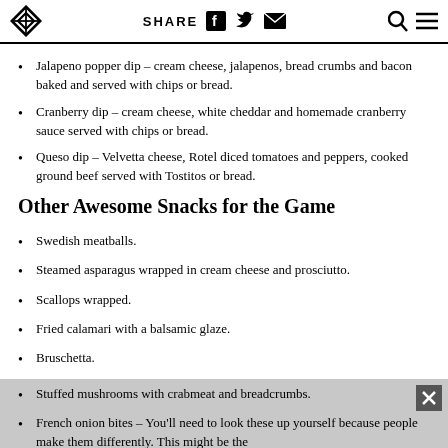SHARE
Jalapeno popper dip – cream cheese, jalapenos, bread crumbs and bacon baked and served with chips or bread.
Cranberry dip – cream cheese, white cheddar and homemade cranberry sauce served with chips or bread.
Queso dip – Velvetta cheese, Rotel diced tomatoes and peppers, cooked ground beef served with Tostitos or bread.
Other Awesome Snacks for the Game
Swedish meatballs.
Steamed asparagus wrapped in cream cheese and prosciutto.
Scallops wrapped.
Fried calamari with a balsamic glaze.
Bruschetta.
Stuffed mushrooms with crabmeat and breadcrumbs.
French onion bites – You'll need to look these up yourself because people make them differently. This might be the